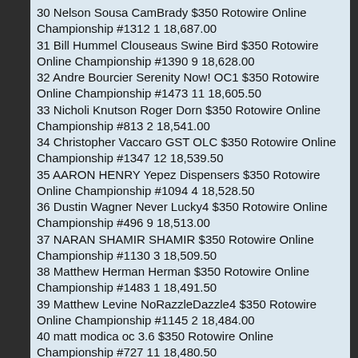30 Nelson Sousa CamBrady $350 Rotowire Online Championship #1312 1 18,687.00
31 Bill Hummel Clouseaus Swine Bird $350 Rotowire Online Championship #1390 9 18,628.00
32 Andre Bourcier Serenity Now! OC1 $350 Rotowire Online Championship #1473 11 18,605.50
33 Nicholi Knutson Roger Dorn $350 Rotowire Online Championship #813 2 18,541.00
34 Christopher Vaccaro GST OLC $350 Rotowire Online Championship #1347 12 18,539.50
35 AARON HENRY Yepez Dispensers $350 Rotowire Online Championship #1094 4 18,528.50
36 Dustin Wagner Never Lucky4 $350 Rotowire Online Championship #496 9 18,513.00
37 NARAN SHAMIR SHAMIR $350 Rotowire Online Championship #1130 3 18,509.50
38 Matthew Herman Herman $350 Rotowire Online Championship #1483 1 18,491.50
39 Matthew Levine NoRazzleDazzle4 $350 Rotowire Online Championship #1145 2 18,484.00
40 matt modica oc 3.6 $350 Rotowire Online Championship #727 11 18,480.50
41 James Tomony Back in Black $350 Rotowire Online Championship #1010 5 18,449.00
42 John Pausma JP OC2 $350 Rotowire Online Championship